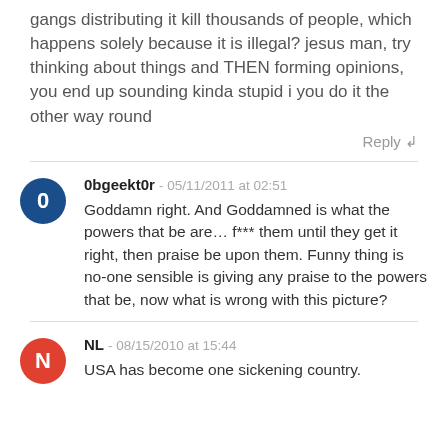gangs distributing it kill thousands of people, which happens solely because it is illegal? jesus man, try thinking about things and THEN forming opinions, you end up sounding kinda stupid i you do it the other way round
Reply ↲
0bgeekt0r - 05/11/2011 at 02:51
Goddamn right. And Goddamned is what the powers that be are… f*** them until they get it right, then praise be upon them. Funny thing is no-one sensible is giving any praise to the powers that be, now what is wrong with this picture?
NL - 08/15/2010 at 15:44
USA has become one sickening country.